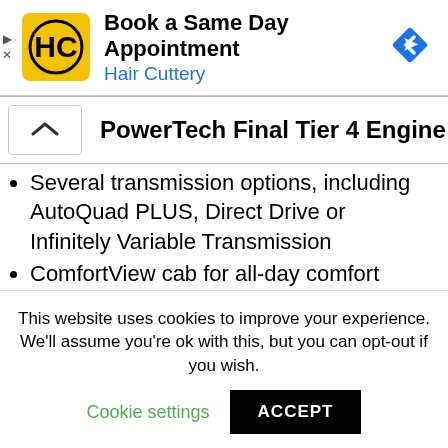[Figure (screenshot): Hair Cuttery advertisement banner with yellow logo, text 'Book a Same Day Appointment / Hair Cuttery', and a blue navigation diamond icon]
PowerTech Final Tier 4 Engine
Several transmission options, including AutoQuad PLUS, Direct Drive or Infinitely Variable Transmission
ComfortView cab for all-day comfort
Available with a command for control of your tractor and implement in the palm of your hand
This website uses cookies to improve your experience. We'll assume you're ok with this, but you can opt-out if you wish.
Cookie settings   ACCEPT